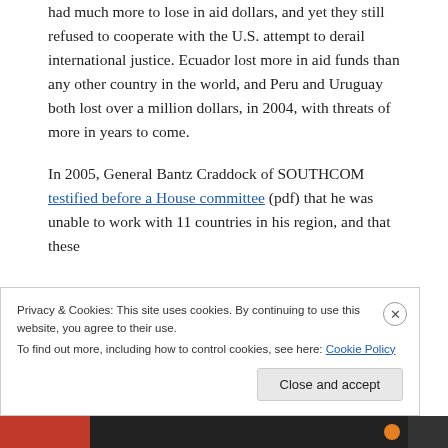had much more to lose in aid dollars, and yet they still refused to cooperate with the U.S. attempt to derail international justice. Ecuador lost more in aid funds than any other country in the world, and Peru and Uruguay both lost over a million dollars, in 2004, with threats of more in years to come.
In 2005, General Bantz Craddock of SOUTHCOM testified before a House committee (pdf) that he was unable to work with 11 countries in his region, and that these
Privacy & Cookies: This site uses cookies. By continuing to use this website, you agree to their use.
To find out more, including how to control cookies, see here: Cookie Policy